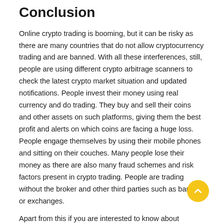Conclusion
Online crypto trading is booming, but it can be risky as there are many countries that do not allow cryptocurrency trading and are banned. With all these interferences, still, people are using different crypto arbitrage scanners to check the latest crypto market situation and updated notifications. People invest their money using real currency and do trading. They buy and sell their coins and other assets on such platforms, giving them the best profit and alerts on which coins are facing a huge loss. People engage themselves by using their mobile phones and sitting on their couches. Many people lose their money as there are also many fraud schemes and risk factors present in crypto trading. People are trading without the broker and other third parties such as banks or exchanges.
Apart from this if you are interested to know about Safemars Crypto then visit our GAMING category.